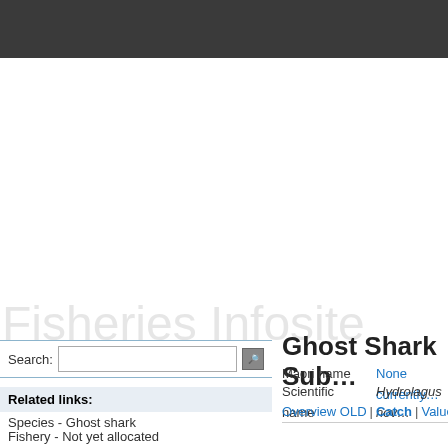[Figure (other): Dark gray website header bar at top of page]
Fisheries Infosite
Search:
Related links:
Species - Ghost shark
Fishery - Not yet allocated
Stock - Ghost Shark (sub-)…
Ghost Shark Sub…
Maori name    None currently…
Scientific name    Hydrolagus nov…
Overview OLD  |Catch  |Value  |S…